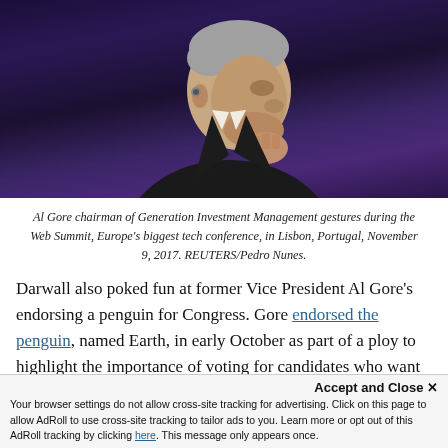[Figure (photo): Al Gore, in dark suit and tie, in a pensive gesture with hand near mouth, against a dark purple/blue background at the Web Summit conference.]
Al Gore chairman of Generation Investment Management gestures during the Web Summit, Europe's biggest tech conference, in Lisbon, Portugal, November 9, 2017. REUTERS/Pedro Nunes.
Darwall also poked fun at former Vice President Al Gore's endorsing a penguin for Congress. Gore endorsed the penguin, named Earth, in early October as part of a ploy to highlight the importance of voting for candidates who want to fight global warming this November.
Accept and Close ✕
Your browser settings do not allow cross-site tracking for advertising. Click on this page to allow AdRoll to use cross-site tracking to tailor ads to you. Learn more or opt out of this AdRoll tracking by clicking here. This message only appears once.